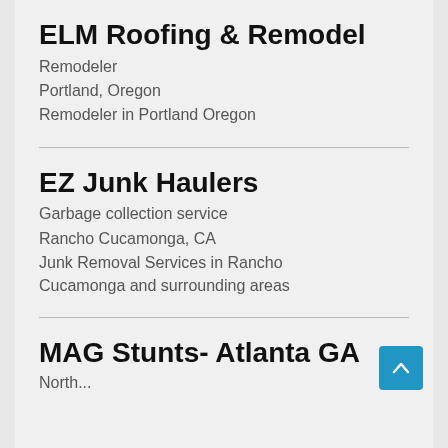ELM Roofing & Remodel
Remodeler
Portland, Oregon
Remodeler in Portland Oregon
EZ Junk Haulers
Garbage collection service
Rancho Cucamonga, CA
Junk Removal Services in Rancho Cucamonga and surrounding areas
MAG Stunts- Atlanta GA
North...